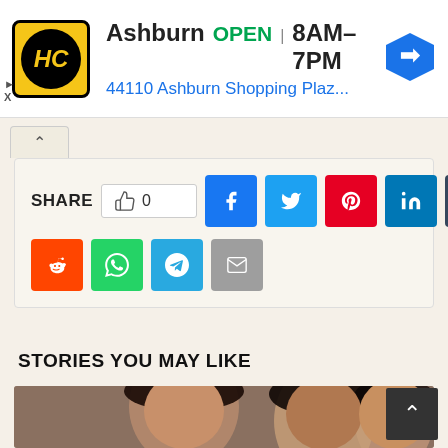[Figure (screenshot): Advertisement banner for a business in Ashburn. Shows logo (HC in yellow circle), text 'Ashburn OPEN 8AM-7PM' and address '44110 Ashburn Shopping Plaz...' with a blue directional arrow icon.]
SHARE  0  f  tweet  pinterest  in  t  reddit  whatsapp  telegram  email
STORIES YOU MAY LIKE
[Figure (photo): Photo of three women with long dark hair, appearing to be at a social event or red carpet.]